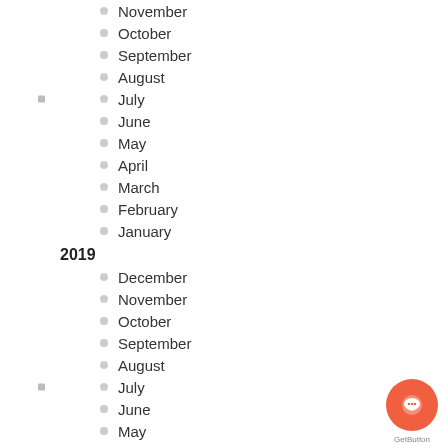November
October
September
August
July
June
May
April
March
February
January
2019
December
November
October
September
August
July
June
May
April
March
February
January